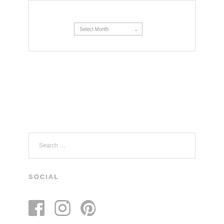[Figure (screenshot): Dropdown widget showing 'Select Month' with a chevron arrow, inside a white bordered box]
Search …
SOCIAL
[Figure (infographic): Three social media icons: Facebook, Instagram, Pinterest in gray]